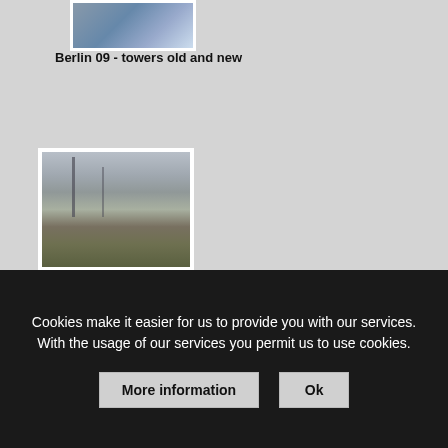[Figure (photo): Partial thumbnail of Berlin towers - top of a building with blue sky, partially cropped at top of page]
Berlin 09 - towers old and new
[Figure (photo): Funkturm (radio tower) and Messe buildings in Berlin, with the eastern TV tower visible in the background, autumn foliage in foreground]
Berlin 09b - Funkturm and Messe, eastern TV tower in the background
Cookies make it easier for us to provide you with our services. With the usage of our services you permit us to use cookies.
More information
Ok